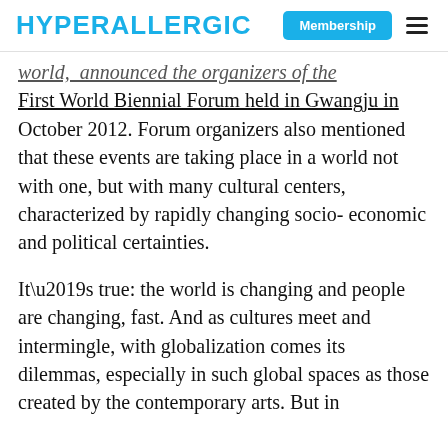HYPERALLERGIC | Membership
world, announced the organizers of the First World Biennial Forum held in Gwangju in October 2012. Forum organizers also mentioned that these events are taking place in a world not with one, but with many cultural centers, characterized by rapidly changing socio-economic and political certainties.
It’s true: the world is changing and people are changing, fast. And as cultures meet and intermingle, with globalization comes its dilemmas, especially in such global spaces as those created by the contemporary arts. But in